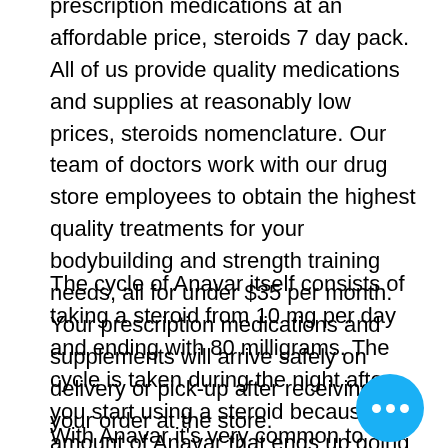prescription medications at an affordable price, steroids 7 day pack. All of us provide quality medications and supplies at reasonably low prices, steroids nomenclature. Our team of doctors work with our drug store employees to obtain the highest quality treatments for your bodybuilding and strength training needs, all for under $35 per month. Your prescription medications and supplements will arrive safely on delivery or pick-up after receiving your order at the store.
The cycle of Anavar itself consists of taking a steroid from 10 mg per day and ending with 80 milligrams. The cycle is taken during the night after you start using a steroid because the amount of Anavar that ends up going into the body is very tiny.
With Anavar it's very common to experience